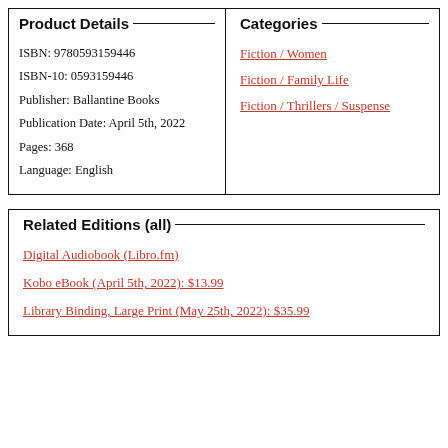Product Details
ISBN: 9780593159446
ISBN-10: 0593159446
Publisher: Ballantine Books
Publication Date: April 5th, 2022
Pages: 368
Language: English
Categories
Fiction / Women
Fiction / Family Life
Fiction / Thrillers / Suspense
Related Editions (all)
Digital Audiobook (Libro.fm)
Kobo eBook (April 5th, 2022): $13.99
Library Binding, Large Print (May 25th, 2022): $35.99